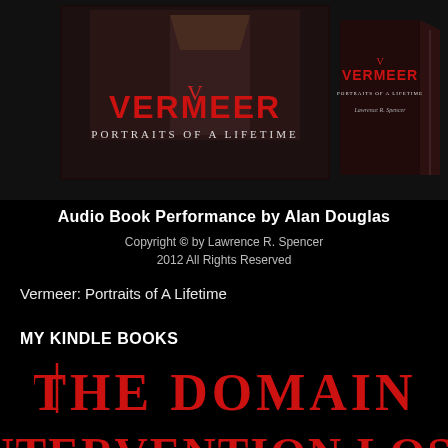[Figure (photo): Two book covers for 'Vermeer: Portraits of A Lifetime' — one flat and one shown as a 3D book spine — against a dark background]
Audio Book Performance by Alan Douglas
Copyright © by Lawrence R. Spencer
2012 All Rights Reserved
Vermeer: Portraits of A Lifetime
MY KINDLE BOOKS
[Figure (logo): Stylized gothic red text logo reading 'THE DOMAIN']
[Figure (logo): Stylized gothic red text logo partially visible at bottom of page, appears to read 'INTERVENTION LOST' or similar]